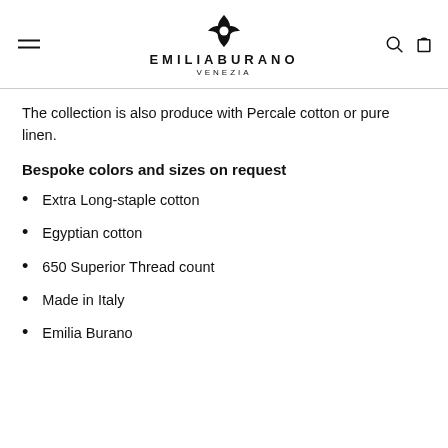EMILIABURANO VENEZIA
The collection is also produce with Percale cotton or pure linen.
Bespoke colors and sizes on request
Extra Long-staple cotton
Egyptian cotton
650 Superior Thread count
Made in Italy
Emilia Burano